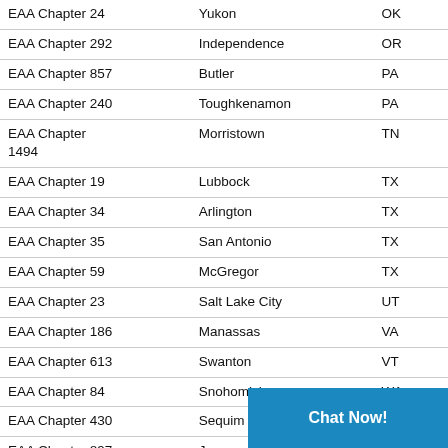| Chapter | City | State |
| --- | --- | --- |
| EAA Chapter 24 | Yukon | OK |
| EAA Chapter 292 | Independence | OR |
| EAA Chapter 857 | Butler | PA |
| EAA Chapter 240 | Toughkenamon | PA |
| EAA Chapter 1494 | Morristown | TN |
| EAA Chapter 19 | Lubbock | TX |
| EAA Chapter 34 | Arlington | TX |
| EAA Chapter 35 | San Antonio | TX |
| EAA Chapter 59 | McGregor | TX |
| EAA Chapter 23 | Salt Lake City | UT |
| EAA Chapter 186 | Manassas | VA |
| EAA Chapter 613 | Swanton | VT |
| EAA Chapter 84 | Snohomish | WA |
| EAA Chapter 430 | Sequim | WA |
| EAA Chapter 897 | Juneau | WI |
| EAA Chapter 838 | Racine | WI |
| EAA Chapter 272 | Superior | WI |